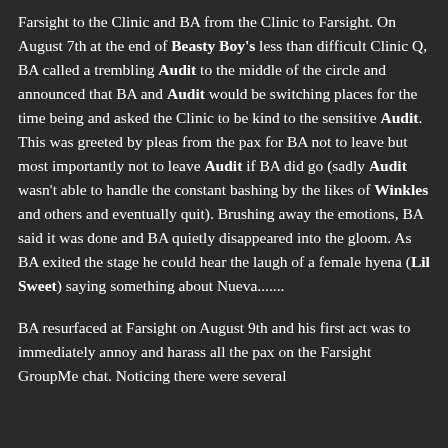Farsight to the Clinic and BA from the Clinic to Farsight. On August 7th at the end of Beasty Boy's less than difficult Clinic Q, BA called a trembling Audit to the middle of the circle and announced that BA and Audit would be switching places for the time being and asked the Clinic to be kind to the sensitive Audit. This was greeted by pleas from the pax for BA not to leave but most importantly not to leave Audit if BA did go (sadly Audit wasn't able to handle the constant bashing by the likes of Winkles and others and eventually quit). Brushing away the emotions, BA said it was done and BA quietly disappeared into the gloom. As BA exited the stage he could hear the laugh of a female hyena (Lil Sweet) saying something about Nueva.......
BA resurfaced at Farsight on August 9th and his first act was to immediately annoy and harass all the pax on the Farsight GroupMe chat. Noticing there were several